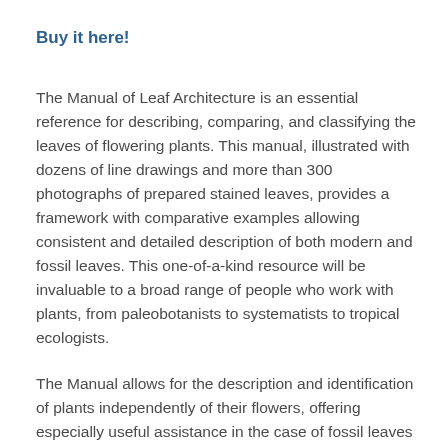Buy it here!
The Manual of Leaf Architecture is an essential reference for describing, comparing, and classifying the leaves of flowering plants. This manual, illustrated with dozens of line drawings and more than 300 photographs of prepared stained leaves, provides a framework with comparative examples allowing consistent and detailed description of both modern and fossil leaves. This one-of-a-kind resource will be invaluable to a broad range of people who work with plants, from paleobotanists to systematists to tropical ecologists.
The Manual allows for the description and identification of plants independently of their flowers, offering especially useful assistance in the case of fossil leaves (usually found in isolation) and tropical plants, whose flowering